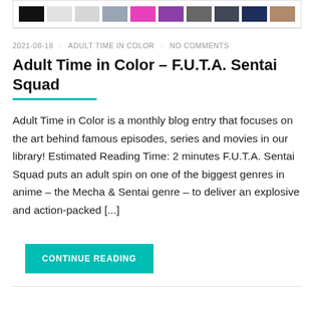[Figure (other): A row of color swatches: black, light gray, lighter gray, blue-gray, magenta/pink, purple, dark gray, dark slate, dark navy, tan/brown]
2021-08-18 · ADULT TIME IN COLOR · NO COMMENTS
Adult Time in Color – F.U.T.A. Sentai Squad
Adult Time in Color is a monthly blog entry that focuses on the art behind famous episodes, series and movies in our library! Estimated Reading Time: 2 minutes F.U.T.A. Sentai Squad puts an adult spin on one of the biggest genres in anime – the Mecha & Sentai genre – to deliver an explosive and action-packed [...]
CONTINUE READING